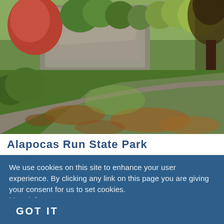[Figure (photo): Autumn scene at Alapocas Run State Park: a paved path winds through green grass with fallen leaves and large trees, with a rocky cliff visible in the background.]
Alapocas Run State Park
We use cookies on this site to enhance your user experience. By clicking any link on this page you are giving your consent for us to set cookies. More info
GOT IT